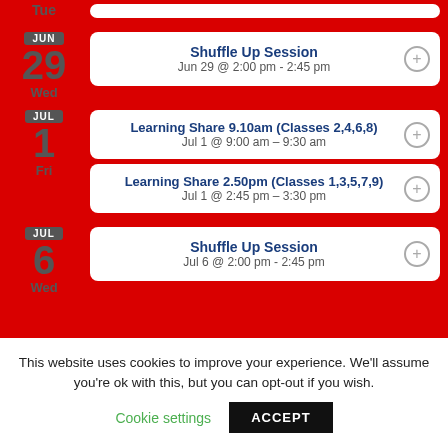Tue — (empty event card)
JUN 29 Wed — Shuffle Up Session — Jun 29 @ 2:00 pm - 2:45 pm
JUL 1 Fri — Learning Share 9.10am (Classes 2,4,6,8) — Jul 1 @ 9:00 am - 9:30 am
JUL 1 Fri — Learning Share 2.50pm (Classes 1,3,5,7,9) — Jul 1 @ 2:45 pm - 3:30 pm
JUL 6 Wed — Shuffle Up Session — Jul 6 @ 2:00 pm - 2:45 pm
This website uses cookies to improve your experience. We'll assume you're ok with this, but you can opt-out if you wish.
Cookie settings   ACCEPT